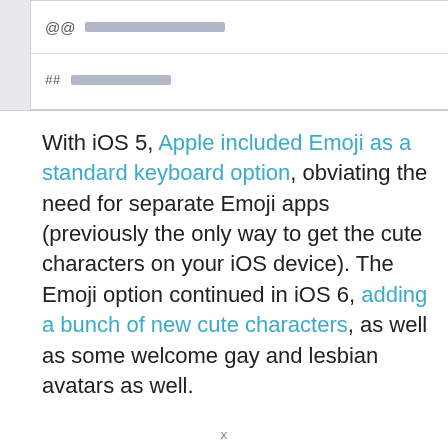[Figure (screenshot): iOS settings screenshot showing two rows: one with @@ symbol and a blurred email address with chevron, another with ## symbol and blurred text with chevron]
With iOS 5, Apple included Emoji as a standard keyboard option, obviating the need for separate Emoji apps (previously the only way to get the cute characters on your iOS device). The Emoji option continued in iOS 6, adding a bunch of new cute characters, as well as some welcome gay and lesbian avatars as well.
x